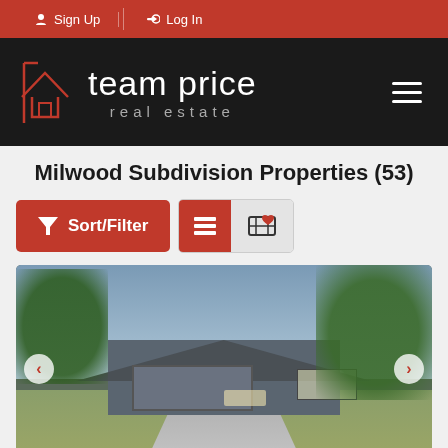Sign Up | Log In
[Figure (logo): Team Price Real Estate logo — house icon with text 'team price real estate' on black background]
Milwood Subdivision Properties (53)
[Figure (infographic): Sort/Filter button (red) and view toggle buttons (list view selected, red; map view, grey)]
[Figure (photo): Exterior photo of a single-story grey house with two-car garage, driveway, and large trees, lit at dusk. Left and right carousel navigation arrows visible.]